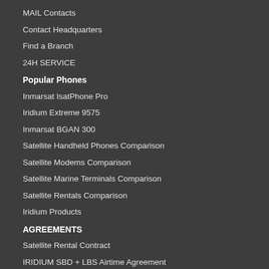MAIL Contacts
Contact Headquarters
Find a Branch
24H SERVICE
Popular Phones
Inmarsat IsatPhone Pro
Iridium Extreme 9575
Inmarsat BGAN 300
Satellite Handheld Phones Comparison
Satellite Modems Comparison
Satellite Marine Terminals Comparison
Satellite Rentals Comparison
Iridium Products
AGREEMENTS
Satellite Rental Contract
IRIDIUM SBD + LBS Airtime Agreement
IRIDIUM Postpaid Airtime Agreement
IRIDIUM OPENPORT Airtime Agreement
INMARSAT Airtime Agreement
INMARSAT VESSELS Airtime Agreement
INMARSAT IDP Airtime Agreement
THURAYA Airtime Agreement